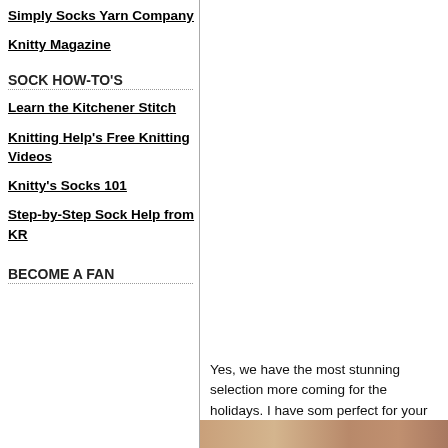Simply Socks Yarn Company
Knitty Magazine
SOCK HOW-TO'S
Learn the Kitchener Stitch
Knitting Help's Free Knitting Videos
Knitty's Socks 101
Step-by-Step Sock Help from KR
BECOME A FAN
Yes, we have the most stunning selection more coming for the holidays. I have som perfect for your winter knits and I can't w along with the other holiday inspired goo
[Figure (photo): Partial photo of knitted/yarn items visible at bottom of right column]